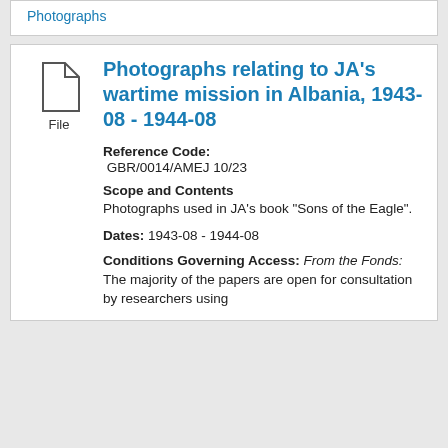Photographs
[Figure (illustration): File document icon with label 'File' beneath it]
Photographs relating to JA’s wartime mission in Albania, 1943-08 - 1944-08
Reference Code: GBR/0014/AMEJ 10/23
Scope and Contents
Photographs used in JA’s book “Sons of the Eagle”.
Dates: 1943-08 - 1944-08
Conditions Governing Access: From the Fonds: The majority of the papers are open for consultation by researchers using